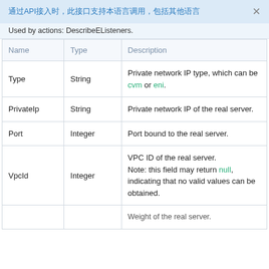通过API接入时，此接口支持本语言调用，包括其他语言
Used by actions: DescribeEListeners.
| Name | Type | Description |
| --- | --- | --- |
| Type | String | Private network IP type, which can be cvm or eni. |
| PrivateIp | String | Private network IP of the real server. |
| Port | Integer | Port bound to the real server. |
| VpcId | Integer | VPC ID of the real server. Note: this field may return null, indicating that no valid values can be obtained. |
| Weight |  | Weight of the real server. |